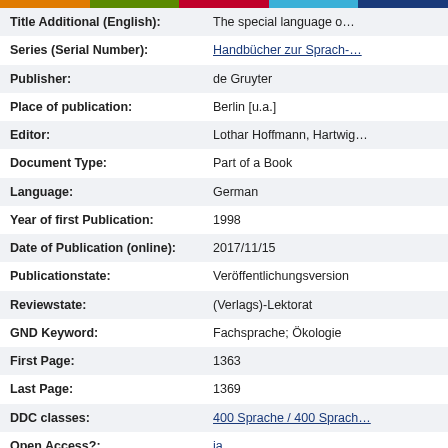| Field | Value |
| --- | --- |
| Title Additional (English): | The special language o… |
| Series (Serial Number): | Handbücher zur Sprach-… |
| Publisher: | de Gruyter |
| Place of publication: | Berlin [u.a.] |
| Editor: | Lothar Hoffmann, Hartwig… |
| Document Type: | Part of a Book |
| Language: | German |
| Year of first Publication: | 1998 |
| Date of Publication (online): | 2017/11/15 |
| Publicationstate: | Veröffentlichungsversion |
| Reviewstate: | (Verlags)-Lektorat |
| GND Keyword: | Fachsprache; Ökologie |
| First Page: | 1363 |
| Last Page: | 1369 |
| DDC classes: | 400 Sprache / 400 Sprach… |
| Open Access?: | ja |
| BDSL-Classification: | Sprache im 20. Jahrhunde… |
| Leibniz-Classification: | Sprache, Linguistik |